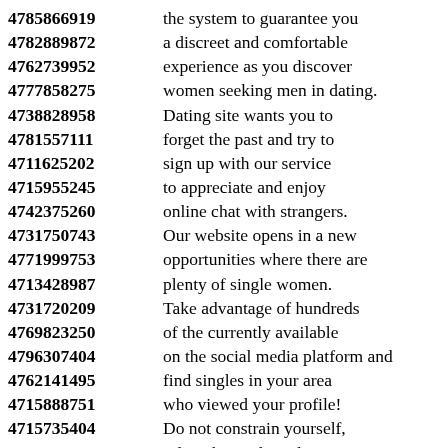4785866919 the system to guarantee you
4782889872 a discreet and comfortable
4762739952 experience as you discover
4777858275 women seeking men in dating.
4738828958 Dating site wants you to
4781557111 forget the past and try to
4711625202 sign up with our service
4715955245 to appreciate and enjoy
4742375260 online chat with strangers.
4731750743 Our website opens in a new
4771999753 opportunities where there are
4713428987 plenty of single women.
4731720209 Take advantage of hundreds
4769823250 of the currently available
4796307404 on the social media platform and
4762141495 find singles in your area
4715888751 who viewed your profile!
4715735404 Do not constrain yourself,
4735620940 select the credentials to use
4785824989 when registering with the
4736132383 international dating website,
4786456350 you can use any name you like.
4764157581
4795710931 If you are a man seeking a
4799975315 single women near you,